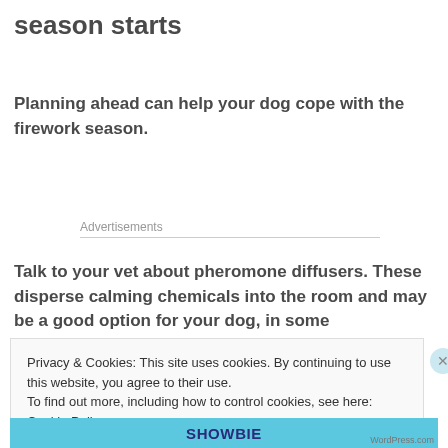season starts
Planning ahead can help your dog cope with the firework season.
Advertisements
Talk to your vet about pheromone diffusers. These disperse calming chemicals into the room and may be a good option for your dog, in some
Privacy & Cookies: This site uses cookies. By continuing to use this website, you agree to their use.
To find out more, including how to control cookies, see here: Cookie Policy
Close and accept